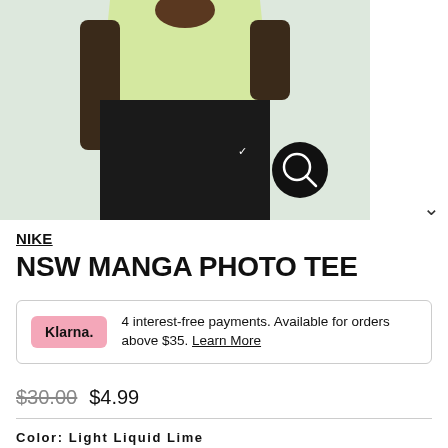[Figure (photo): Product photo of a person wearing a light lime green Nike t-shirt and black Nike jogger pants with a Nike logo. A magnifying glass icon overlay is visible in the bottom right of the image.]
NIKE
NSW MANGA PHOTO TEE
4 interest-free payments. Available for orders above $35. Learn More
$30.00  $4.99
Color: Light Liquid Lime
[Figure (photo): Small thumbnail of a person wearing the light lime Nike tee, used as a color swatch selector.]